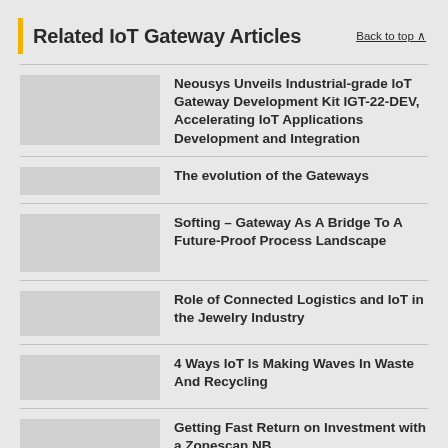Related IoT Gateway Articles
Neousys Unveils Industrial-grade IoT Gateway Development Kit IGT-22-DEV, Accelerating IoT Applications Development and Integration
The evolution of the Gateways
Softing – Gateway As A Bridge To A Future-Proof Process Landscape
Role of Connected Logistics and IoT in the Jewelry Industry
4 Ways IoT Is Making Waves In Waste And Recycling
Getting Fast Return on Investment with a Zonescan NB…